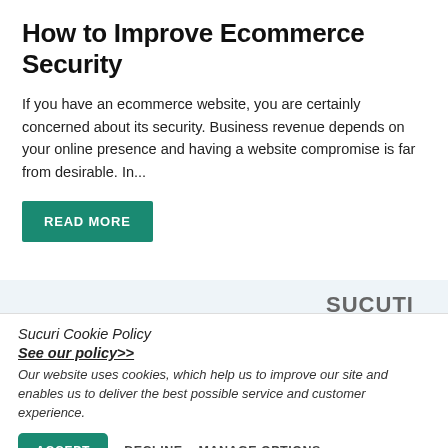How to Improve Ecommerce Security
If you have an ecommerce website, you are certainly concerned about its security. Business revenue depends on your online presence and having a website compromise is far from desirable. In...
READ MORE
[Figure (logo): Sucuri logo in gray text on light blue banner background with partial graphic shapes below]
Sucuri Cookie Policy
See our policy>>
Our website uses cookies, which help us to improve our site and enables us to deliver the best possible service and customer experience.
ACCEPT   DECLINE   MANAGE OPTIONS